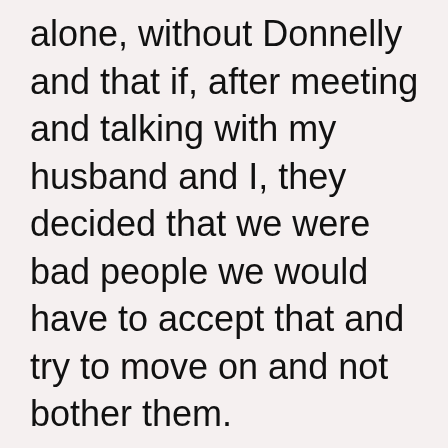alone, without Donnelly and that if, after meeting and talking with my husband and I, they decided that we were bad people we would have to accept that and try to move on and not bother them.

I really believed that they would at least call us and say, “Bug off losers!” if meeting us was out of